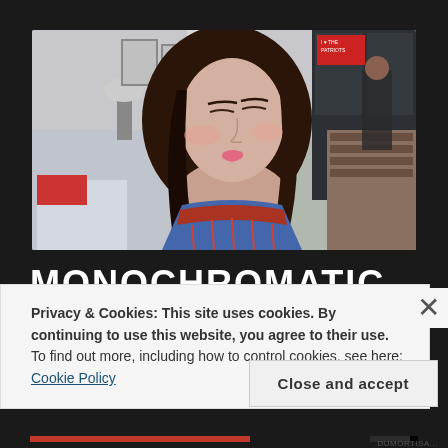[Figure (photo): Young woman with long dark brown hair, wearing a plaid scarf, looking downward with eyes nearly closed. She is wearing makeup. Background shows a bedroom with a bed, lamp, dark wardrobe, bookshelves, and a poster on the wall.]
MONOCHROMATIC
Privacy & Cookies: This site uses cookies. By continuing to use this website, you agree to their use.
To find out more, including how to control cookies, see here: Cookie Policy
Close and accept